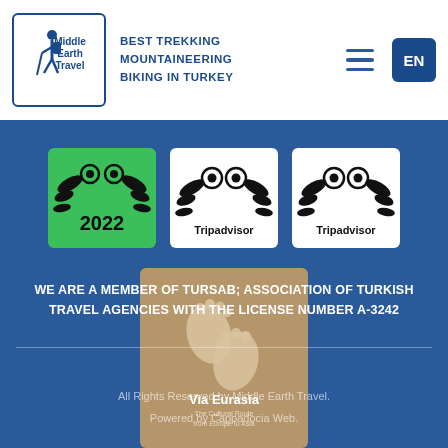[Figure (logo): Middle Earth Travel logo with hiker silhouette and text 'BEST TREKKING MOUNTAINEERING BIKING IN TURKEY']
[Figure (logo): Tripadvisor 2022 award badge with green background]
[Figure (logo): Tripadvisor award badge on white background]
[Figure (logo): Tripadvisor award badge on white background]
[Figure (logo): Via Eurasia - The Cultural Route from Europe to Asia badge on brown background]
WE ARE A MEMBER OF TURSAB; ASSOCIATION OF TURKISH TRAVEL AGENCIES WITH THE LICENSE NUMBER A-3242
All Rights Reserved by Middle Earth Travel.
Powered by Cappadocia Web.